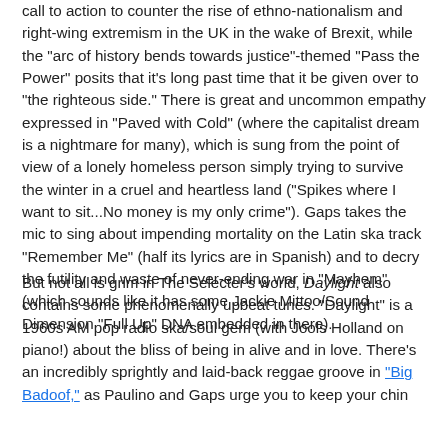call to action to counter the rise of ethno-nationalism and right-wing extremism in the UK in the wake of Brexit, while the "arc of history bends towards justice"-themed "Pass the Power" posits that it's long past time that it be given over to "the righteous side." There is great and uncommon empathy expressed in "Paved with Cold" (where the capitalist dream is a nightmare for many), which is sung from the point of view of a lonely homeless person simply trying to survive the winter in a cruel and heartless land ("Spikes where I want to sit...No money is my only crime"). Gaps takes the mic to sing about impending mortality on the Latin ska track "Remember Me" (half its lyrics are in Spanish) and to decry the futility and waste of never-ending war in "Mayhem" (which sounds like it has some Jackie Mittoo/Sound Dimension "Full Up" DNA embedded in there).
But not all is grim in The Selecter's world, Daylight also contains some phenomenally upbeat tunes. "Daylight" is a 1960s AM pop radio ska/soul gem (with Jools Holland on piano!) about the bliss of being in alive and in love. There's an incredibly sprightly and laid-back reggae groove in "Big Badoof," as Paulino and Gaps urge you to keep your chin...